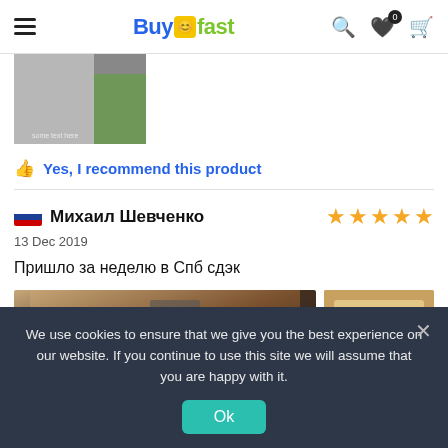BuyAndFast navigation header with logo, search, wishlist and cart icons
[Figure (photo): Partial product photo showing green item on light background]
Yes, I recommend this product
Михаил Шевченко — 5 stars — 13 Dec 2019
Пришло за неделю в Спб сдэк
[Figure (photo): Two review photos of delivered product package]
We use cookies to ensure that we give you the best experience on our website. If you continue to use this site we will assume that you are happy with it.